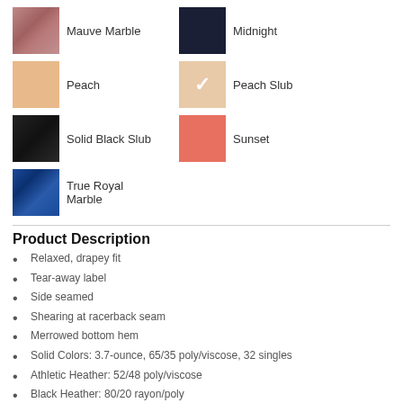[Figure (other): Color swatches grid showing product color options: Mauve Marble (dusty rose), Midnight (dark navy), Peach (light peach), Peach Slub (light peach with checkmark indicating selected), Solid Black Slub (black textured), Sunset (coral/salmon), True Royal Marble (blue marble)]
Product Description
Relaxed, drapey fit
Tear-away label
Side seamed
Shearing at racerback seam
Merrowed bottom hem
Solid Colors: 3.7-ounce, 65/35 poly/viscose, 32 singles
Athletic Heather: 52/48 poly/viscose
Black Heather: 80/20 rayon/poly
Heather Navy: 70/30 rayon/poly
Marble Colors: 3.5-ounce, 91/9 poly/Airlume combed and ring spun cotton, 32 singles
Neon Pink: 3.7-ounce, 65/35 poly/viscose, 32 singles
Vintage Slub Colors: 4-ounce, 50/37.5/12.5 poly/Airlume combed and ring spun cotton/rayon, 32 singles